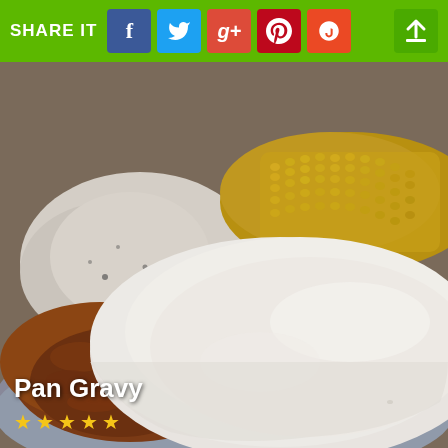SHARE IT
[Figure (photo): Close-up photo of a dish called Pan Gravy: fried steak or meat patty covered with thick white cream gravy, served on a plate with mashed potatoes and corn in the background.]
Pan Gravy
★ ★ ★ ★ ★